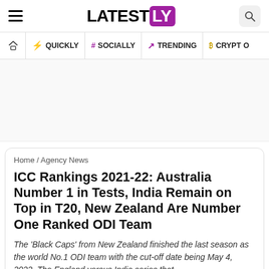LATESTLY
Home / QUICKLY / # SOCIALLY / TRENDING / CRYPTO
ICC Rankings 2021-22: Australia Number 1 in Tests, India Remain on Top in T20, New Zealand Are Number One Ranked ODI Team
The 'Black Caps' from New Zealand finished the last season as the world No.1 ODI team with the cut-off date being May 4, 2022. The England versus India series that